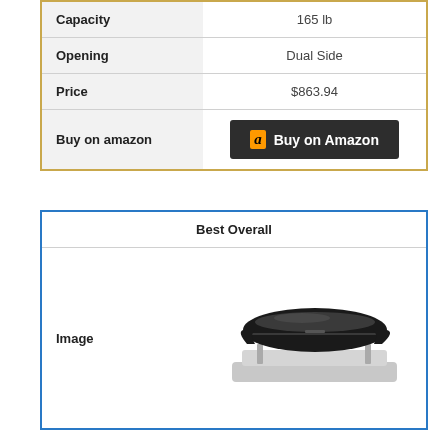|  |  |
| --- | --- |
| Capacity | 165 lb |
| Opening | Dual Side |
| Price | $863.94 |
| Buy on amazon | Buy on Amazon |
| Best Overall |
| --- |
| Image | [product image of roof cargo box on car] |